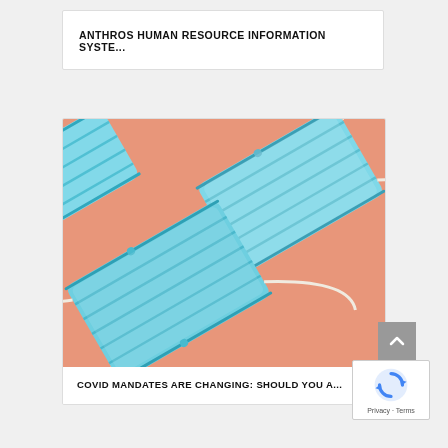ANTHROS HUMAN RESOURCE INFORMATION SYSTE...
[Figure (photo): Three light blue surgical face masks arranged diagonally on a salmon/peach pink background, with white ear loop strings visible, photographed from above with hard shadows]
COVID MANDATES ARE CHANGING: SHOULD YOU A...